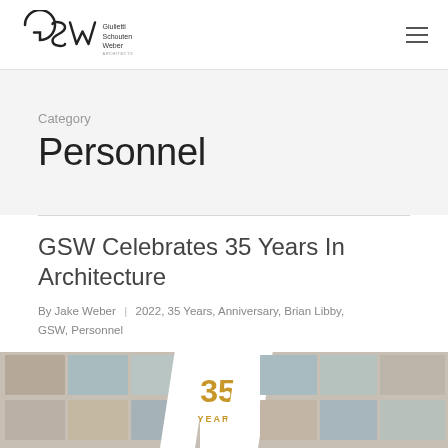GSW — Giulietti Schouten Weber Architects
Category
Personnel
GSW Celebrates 35 Years In Architecture
By Jake Weber | 2022, 35 Years, Anniversary, Brian Libby, GSW, Personnel
[Figure (photo): 35 Years anniversary graphic with collage of architectural photos and gold '35 YEARS' text]